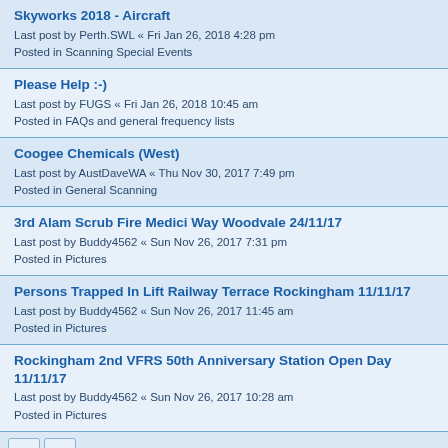Skyworks 2018 - Aircraft
Last post by Perth.SWL « Fri Jan 26, 2018 4:28 pm
Posted in Scanning Special Events
Please Help :-)
Last post by FUGS « Fri Jan 26, 2018 10:45 am
Posted in FAQs and general frequency lists
Coogee Chemicals (West)
Last post by AustDaveWA « Thu Nov 30, 2017 7:49 pm
Posted in General Scanning
3rd Alam Scrub Fire Medici Way Woodvale 24/11/17
Last post by Buddy4562 « Sun Nov 26, 2017 7:31 pm
Posted in Pictures
Persons Trapped In Lift Railway Terrace Rockingham 11/11/17
Last post by Buddy4562 « Sun Nov 26, 2017 11:45 am
Posted in Pictures
Rockingham 2nd VFRS 50th Anniversary Station Open Day 11/11/17
Last post by Buddy4562 « Sun Nov 26, 2017 10:28 am
Posted in Pictures
Search found 929 matches  1 2 3 4 5 ... 19
Jump to